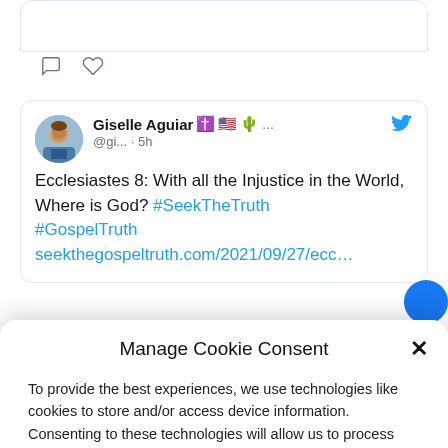[Figure (screenshot): Partial tweet card with like/comment icons at top]
Giselle Aguiar ✝️🇺🇸🌵 ... @gi... · 5h
Ecclesiastes 8: With all the Injustice in the World, Where is God? #SeekTheTruth #GospelTruth seekthegospeltruth.com/2021/09/27/ecc...
Manage Cookie Consent
To provide the best experiences, we use technologies like cookies to store and/or access device information. Consenting to these technologies will allow us to process data such as browsing behavior or unique IDs on this site. Not consenting or withdrawing consent, may adversely affect certain features and functions.
Accept
English
kie Policy